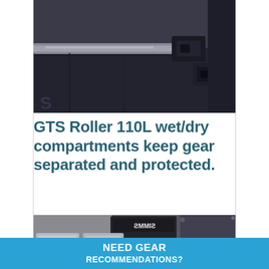[Figure (photo): Close-up photo of a black GTS Roller bag showing straps, buckles, and compartment details]
GTS Roller 110L wet/dry compartments keep gear separated and protected.
[Figure (photo): Open bag interior showing Simms branded pouches and packing cubes in silver and orange]
NEED GEAR RECOMMENDATIONS?